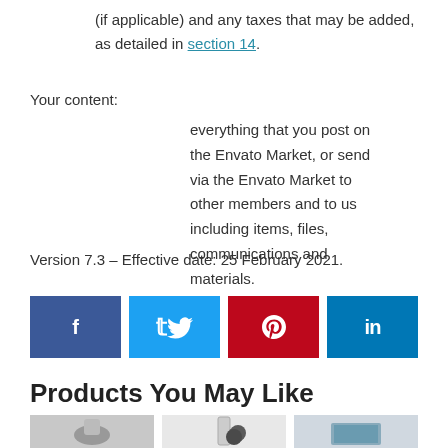(if applicable) and any taxes that may be added, as detailed in section 14.
Your content:
everything that you post on the Envato Market, or send via the Envato Market to other members and to us including items, files, communications and materials.
Version 7.3 – Effective date: 25 February 2021.
[Figure (infographic): Social media share buttons: Facebook (dark blue), Twitter (light blue), Pinterest (red), LinkedIn (dark blue)]
Products You May Like
[Figure (photo): Three product thumbnail images at the bottom of the page]